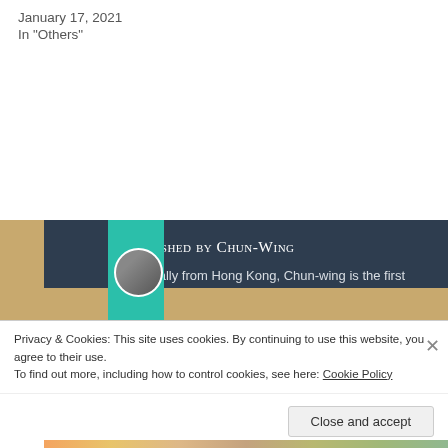January 17, 2021
In "Others"
Published by Chun-Wing
Originally from Hong Kong, Chun-wing is the first Chinese dancer to join the Paris Opera Ballet (Opéra National de Paris). Chun-wing has been passionate about music since the age of 3, he would play the songs that he used to sing at the kindergarten on the piano. At the age of 7, his mother introduced him to ballet. A few years later, he decided that he would like to
Privacy & Cookies: This site uses cookies. By continuing to use this website, you agree to their use.
To find out more, including how to control cookies, see here: Cookie Policy
Close and accept